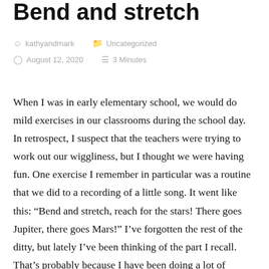Bend and stretch
kathyandmark   Uncategorized
August 12, 2020   3 Minutes
When I was in early elementary school, we would do mild exercises in our classrooms during the school day. In retrospect, I suspect that the teachers were trying to work out our wiggliness, but I thought we were having fun. One exercise I remember in particular was a routine that we did to a recording of a little song. It went like this: “Bend and stretch, reach for the stars! There goes Jupiter, there goes Mars!” I’ve forgotten the rest of the ditty, but lately I’ve been thinking of the part I recall. That’s probably because I have been doing a lot of bending lately. Part of my bending is actual exercising